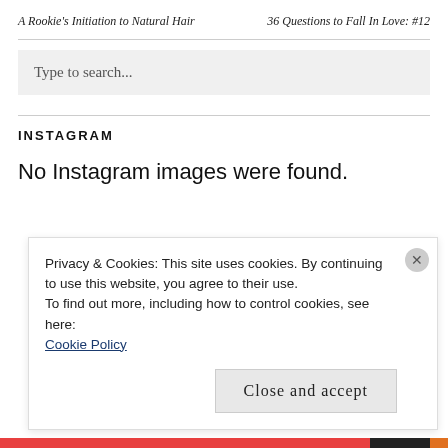A Rookie's Initiation to Natural Hair     36 Questions to Fall In Love: #12
Type to search...
INSTAGRAM
No Instagram images were found.
Privacy & Cookies: This site uses cookies. By continuing to use this website, you agree to their use.
To find out more, including how to control cookies, see here:
Cookie Policy
Close and accept